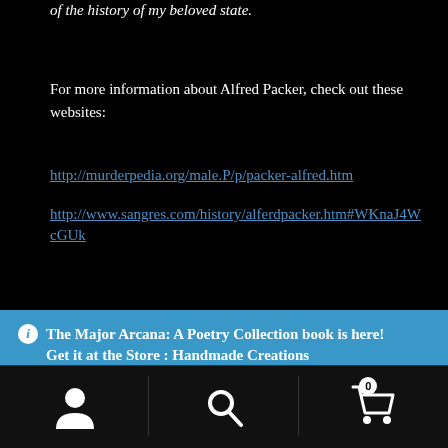of the history of my beloved state.
For more information about Alfred Packer, check out these websites:
http://murderpedia.org/male.P/p/packer-alfred.htm
http://www.sangres.com/history/alferdpacker.htm#WKnaJ4WcGUk
ℹ The Major Arcana: A Poetry Collection book is here! Get it at the Store : Handmade Creations Dismiss
user icon | search icon | cart icon (0)